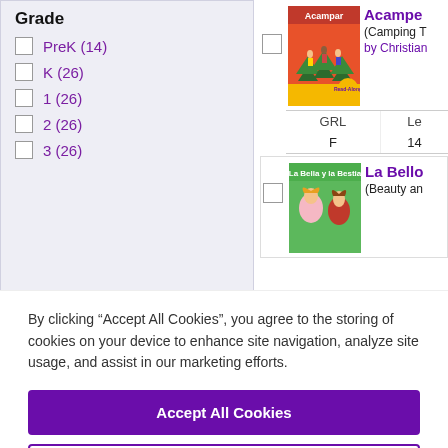Grade
PreK (14)
K (26)
1 (26)
2 (26)
3 (26)
Format Type
Capstone Interactive eBook (20)
Acampe
(Camping T
by Christian
| GRL | Le |
| --- | --- |
| F | 14 |
La Bello
(Beauty an
By clicking “Accept All Cookies”, you agree to the storing of cookies on your device to enhance site navigation, analyze site usage, and assist in our marketing efforts.
Accept All Cookies
Cookies Settings